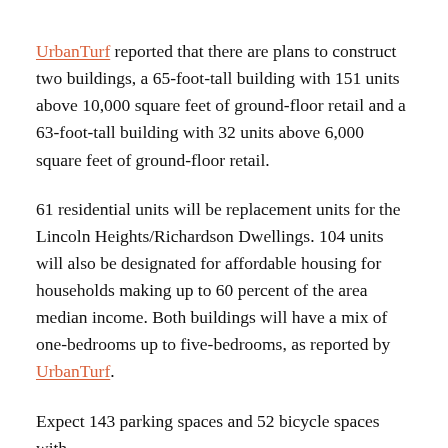UrbanTurf reported that there are plans to construct two buildings, a 65-foot-tall building with 151 units above 10,000 square feet of ground-floor retail and a 63-foot-tall building with 32 units above 6,000 square feet of ground-floor retail.
61 residential units will be replacement units for the Lincoln Heights/Richardson Dwellings. 104 units will also be designated for affordable housing for households making up to 60 percent of the area median income. Both buildings will have a mix of one-bedrooms up to five-bedrooms, as reported by UrbanTurf.
Expect 143 parking spaces and 52 bicycle spaces with